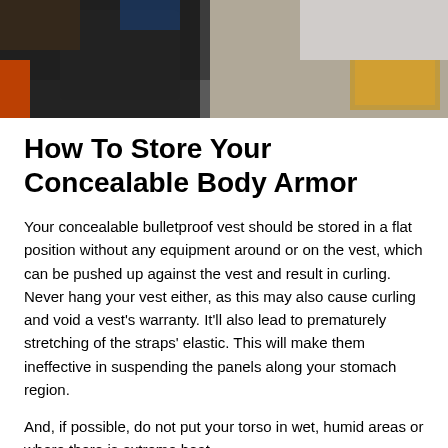[Figure (photo): A person handling body armor equipment, dark background with hands visible holding gear]
How To Store Your Concealable Body Armor
Your concealable bulletproof vest should be stored in a flat position without any equipment around or on the vest, which can be pushed up against the vest and result in curling. Never hang your vest either, as this may also cause curling and void a vest's warranty. It'll also lead to prematurely stretching of the straps' elastic. This will make them ineffective in suspending the panels along your stomach region.
And, if possible, do not put your torso in wet, humid areas or where there is extreme heat.
Get More Deatils
Visit: https://www.bodyarmornews.com/concealable-body-